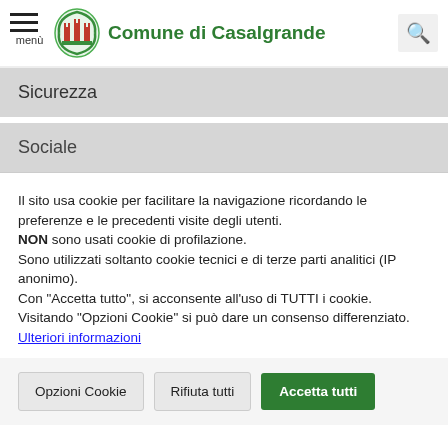Comune di Casalgrande
Sicurezza
Sociale
Il sito usa cookie per facilitare la navigazione ricordando le preferenze e le precedenti visite degli utenti.
NON sono usati cookie di profilazione.
Sono utilizzati soltanto cookie tecnici e di terze parti analitici (IP anonimo).
Con "Accetta tutto", si acconsente all'uso di TUTTI i cookie.
Visitando "Opzioni Cookie" si può dare un consenso differenziato.
Ulteriori informazioni
Opzioni Cookie
Rifiuta tutti
Accetta tutti